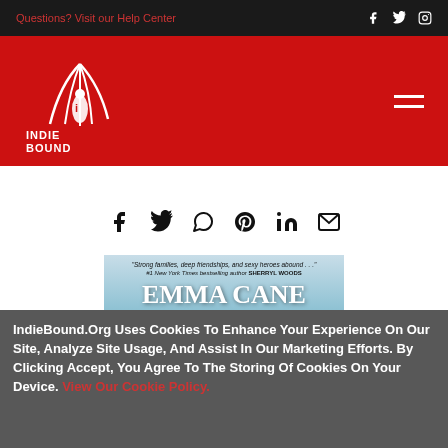Questions? Visit our Help Center
[Figure (logo): IndieBound logo - white bird/feather with INDIE BOUND text on red background]
[Figure (infographic): Social share icons row: Facebook, Twitter, WhatsApp, Pinterest, LinkedIn, Email]
[Figure (photo): Book cover by Emma Cane with quote from Sherryl Woods - mountain/nature background]
IndieBound.Org Uses Cookies To Enhance Your Experience On Our Site, Analyze Site Usage, And Assist In Our Marketing Efforts. By Clicking Accept, You Agree To The Storing Of Cookies On Your Device. View Our Cookie Policy.